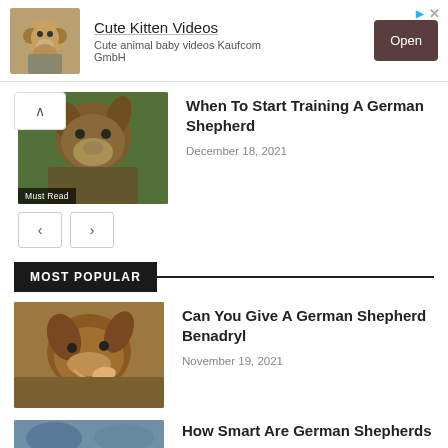[Figure (screenshot): Advertisement banner for Cute Kitten Videos app with monkey image and Open button]
When To Start Training A German Shepherd
December 18, 2021
[Figure (photo): German Shepherd dog close-up with green background, Must Read badge]
MOST POPULAR
Can You Give A German Shepherd Benadryl
November 19, 2021
[Figure (photo): German Shepherd dog with mouth open, side profile]
How Smart Are German Shepherds